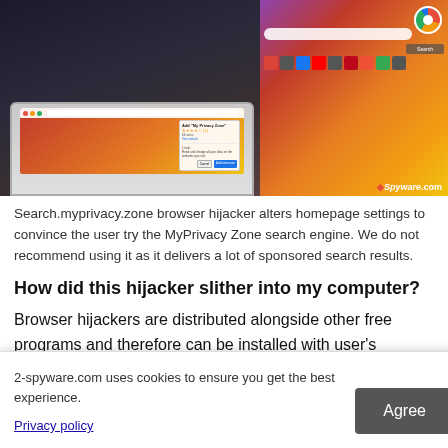[Figure (screenshot): Screenshot showing a woman holding a laptop with Search.myprivacy.zone browser hijacker, displaying the Chrome extension dialog for 'My Privacy Zone' with star rating, 64 users, and Add extension/Cancel buttons. A spyware.com watermark is visible.]
Search.myprivacy.zone browser hijacker alters homepage settings to convince the user try the MyPrivacy Zone search engine. We do not recommend using it as it delivers a lot of sponsored search results.
How did this hijacker slither into my computer?
Browser hijackers are distributed alongside other free programs and therefore can be installed with user's knowledge or without it. The method uses, although controversial, is considered legal by most users and lead to numerous distribution of potentially unwanted programs.
2-spyware.com uses cookies to ensure you get the best experience.